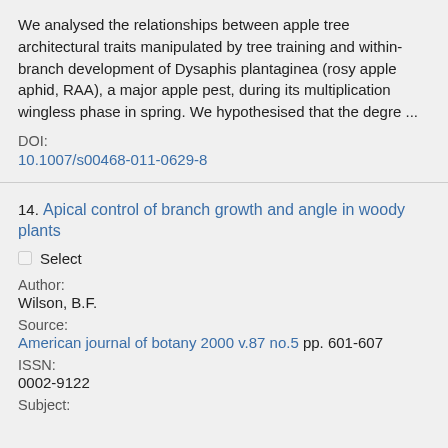We analysed the relationships between apple tree architectural traits manipulated by tree training and within-branch development of Dysaphis plantaginea (rosy apple aphid, RAA), a major apple pest, during its multiplication wingless phase in spring. We hypothesised that the degre ...
DOI:
10.1007/s00468-011-0629-8
14. Apical control of branch growth and angle in woody plants
Select
Author:
Wilson, B.F.
Source:
American journal of botany 2000 v.87 no.5 pp. 601-607
ISSN:
0002-9122
Subject: